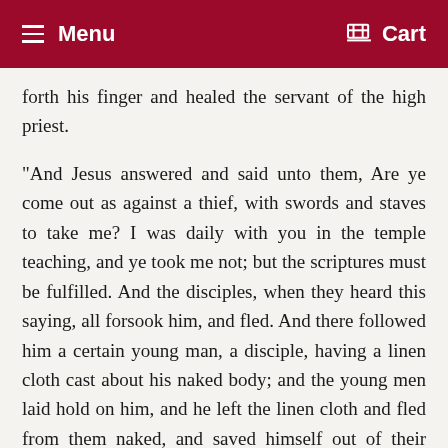Menu   Cart
forth his finger and healed the servant of the high priest.
"And Jesus answered and said unto them, Are ye come out as against a thief, with swords and staves to take me? I was daily with you in the temple teaching, and ye took me not; but the scriptures must be fulfilled. And the disciples, when they heard this saying, all forsook him, and fled. And there followed him a certain young man, a disciple, having a linen cloth cast about his naked body; and the young men laid hold on him, and he left the linen cloth and fled from them naked, and saved himself out of their hands.
"And they led Jesus away to the high priest, and with him were assembled all the chief priests, and the elders and the scribes. And Peter followed him afar off, even